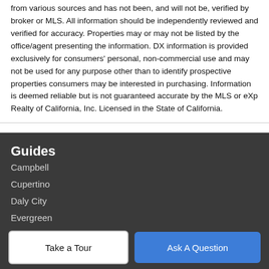from various sources and has not been, and will not be, verified by broker or MLS. All information should be independently reviewed and verified for accuracy. Properties may or may not be listed by the office/agent presenting the information. DX information is provided exclusively for consumers' personal, non-commercial use and may not be used for any purpose other than to identify prospective properties consumers may be interested in purchasing. Information is deemed reliable but is not guaranteed accurate by the MLS or eXp Realty of California, Inc. Licensed in the State of California.
Guides
Campbell
Cupertino
Daly City
Evergreen
Gilroy
Company